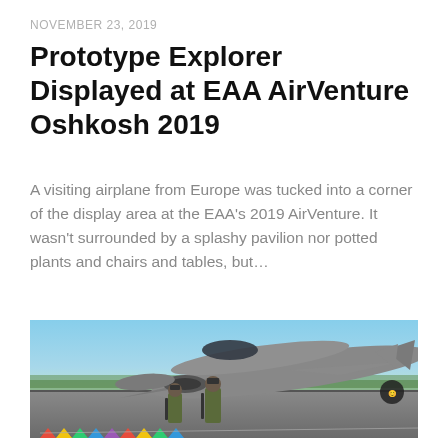NOVEMBER 23, 2019
Prototype Explorer Displayed at EAA AirVenture Oshkosh 2019
A visiting airplane from Europe was tucked into a corner of the display area at the EAA's 2019 AirVenture. It wasn't surrounded by a splashy pavilion nor potted plants and chairs and tables, but…
[Figure (photo): Military personnel with rifles standing in front of a large grey fighter jet (resembling an F-35) on a tarmac at an air show. Blue sky, trees, and colorful pennant flags in the background.]